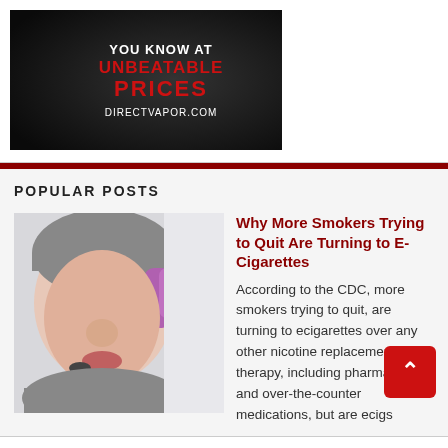[Figure (advertisement): DirectVapor.com advertisement showing a vape device on black background with text 'YOU KNOW AT UNBEATABLE PRICES DIRECTVAPOR.COM']
POPULAR POSTS
[Figure (photo): Young woman with purple hair wearing a knit hat, vaping with an e-cigarette device]
Why More Smokers Trying to Quit Are Turning to E-Cigarettes
According to the CDC, more smokers trying to quit, are turning to ecigarettes over any other nicotine replacement therapy, including pharmaceuti and over-the-counter medications, but are ecigs
helping smokers quit? Are they really safer than cigarettes?